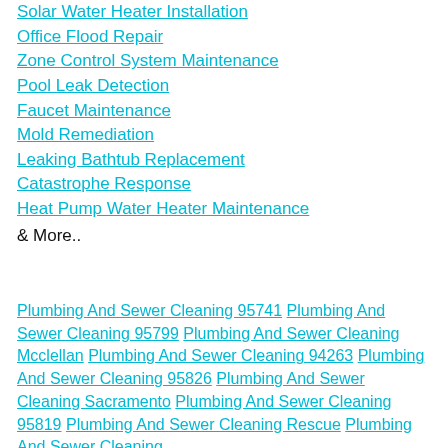Solar Water Heater Installation
Office Flood Repair
Zone Control System Maintenance
Pool Leak Detection
Faucet Maintenance
Mold Remediation
Leaking Bathtub Replacement
Catastrophe Response
Heat Pump Water Heater Maintenance
& More..
Plumbing And Sewer Cleaning 95741 Plumbing And Sewer Cleaning 95799 Plumbing And Sewer Cleaning Mcclellan Plumbing And Sewer Cleaning 94263 Plumbing And Sewer Cleaning 95826 Plumbing And Sewer Cleaning Sacramento Plumbing And Sewer Cleaning 95819 Plumbing And Sewer Cleaning Rescue Plumbing And Sewer Cleaning Penryn Plumbing And Sewer Cleaning